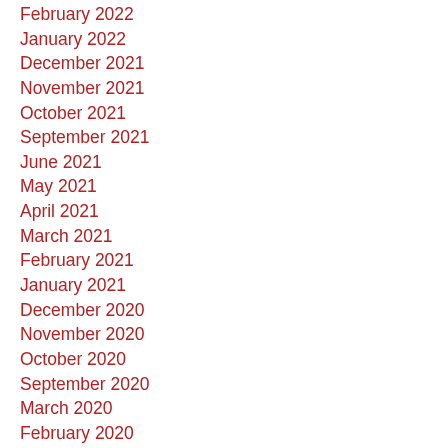February 2022
January 2022
December 2021
November 2021
October 2021
September 2021
June 2021
May 2021
April 2021
March 2021
February 2021
January 2021
December 2020
November 2020
October 2020
September 2020
March 2020
February 2020
January 2020
December 2019
November 2019